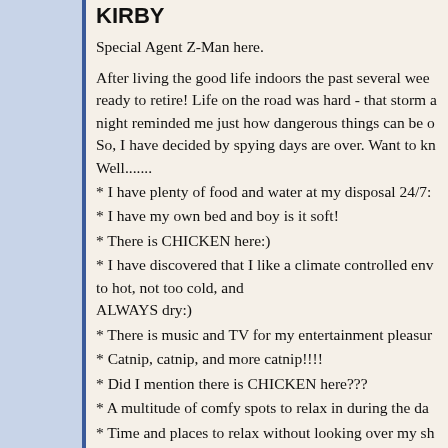KIRBY
Special Agent Z-Man here.
After living the good life indoors the past several weeks, I am ready to retire! Life on the road was hard - that storm a night reminded me just how dangerous things can be out there. So, I have decided by spying days are over. Want to know why? Well.......
* I have plenty of food and water at my disposal 24/7:
* I have my own bed and boy is it soft!
* There is CHICKEN here:)
* I have discovered that I like a climate controlled environment not to hot, not too cold, and ALWAYS dry:)
* There is music and TV for my entertainment pleasure
* Catnip, catnip, and more catnip!!!!
* Did I mention there is CHICKEN here???
* A multitude of comfy spots to relax in during the day
* Time and places to relax without looking over my shoulder every second.
* It is safe inside and I like being safe.